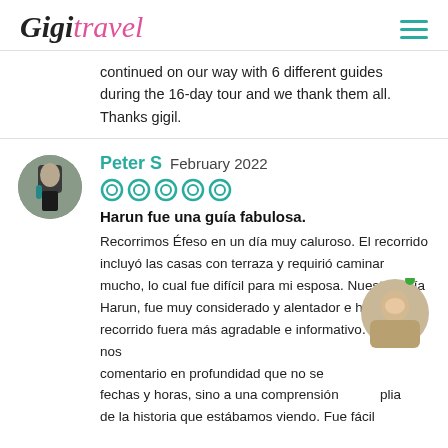Gigi Travel
continued on our way with 6 different guides during the 16-day tour and we thank them all. Thanks gigil.
Peter S  February 2022
Harun fue una guía fabulosa.
Recorrimos Éfeso en un día muy caluroso. El recorrido incluyó las casas con terraza y requirió caminar mucho, lo cual fue difícil para mi esposa. Nuestro guía Harun, fue muy considerado y alentador e hizo que el recorrido fuera más agradable e informativo. También nos comentario en profundidad que no se fechas y horas, sino a una comprensión plia de la historia que estábamos viendo. Fue fácil